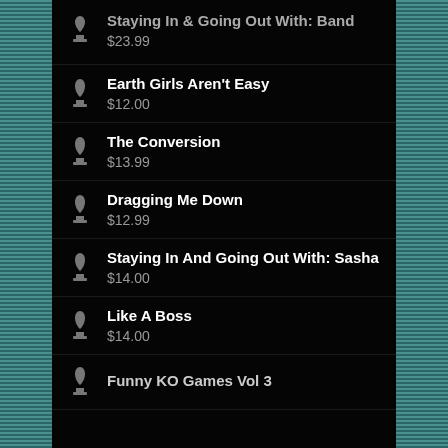Staying In And Going Out With: Band
$23.99
Earth Girls Aren't Easy
$12.00
The Conversion
$13.99
Dragging Me Down
$12.99
Staying In And Going Out With: Sasha
$14.00
Like A Boss
$14.00
Funny KO Games Vol 3